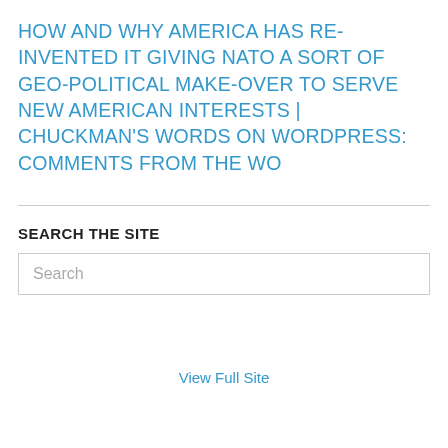HOW AND WHY AMERICA HAS RE-INVENTED IT GIVING NATO A SORT OF GEO-POLITICAL MAKE-OVER TO SERVE NEW AMERICAN INTERESTS | CHUCKMAN'S WORDS ON WORDPRESS: COMMENTS FROM THE WO
SEARCH THE SITE
Search
View Full Site